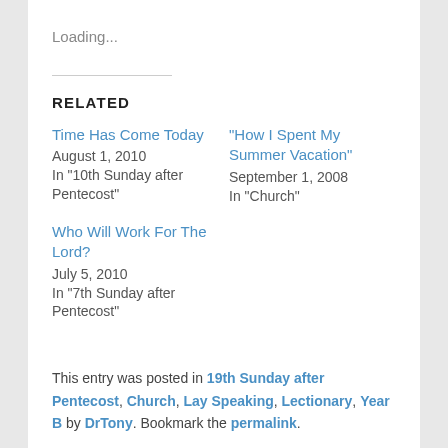Loading...
RELATED
Time Has Come Today
August 1, 2010
In "10th Sunday after Pentecost"
"How I Spent My Summer Vacation"
September 1, 2008
In "Church"
Who Will Work For The Lord?
July 5, 2010
In "7th Sunday after Pentecost"
This entry was posted in 19th Sunday after Pentecost, Church, Lay Speaking, Lectionary, Year B by DrTony. Bookmark the permalink.